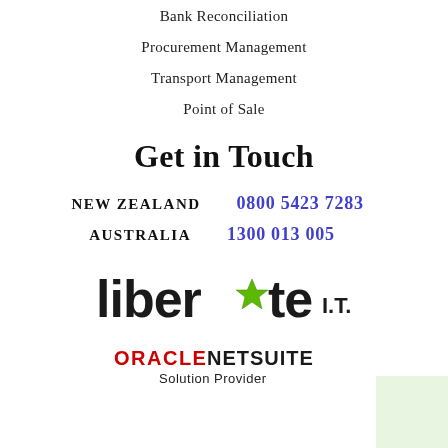Bank Reconciliation
Procurement Management
Transport Management
Point of Sale
Get in Touch
NEW ZEALAND   0800 5423 7283
AUSTRALIA   1300 013 005
[Figure (logo): Liberate I.T. logo with a green star replacing the 'a' in liberate, and 'I.T.' in bold]
[Figure (logo): Oracle NetSuite Solution Provider logo]